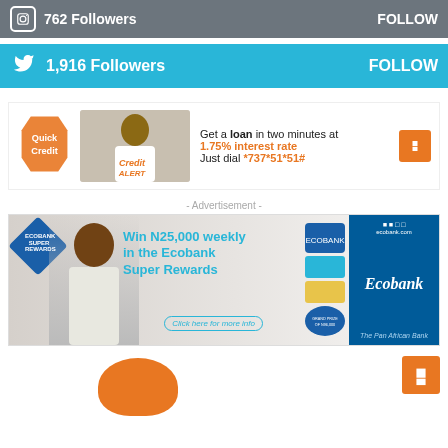[Figure (infographic): Instagram followers bar: grey background, Instagram icon, 762 Followers, FOLLOW button]
[Figure (infographic): Twitter followers bar: blue background, Twitter bird icon, 1,916 Followers, FOLLOW button]
[Figure (infographic): GTBank QuickCredit ad: Get a loan in two minutes at 1.75% interest rate. Just dial *737*51*51#]
- Advertisement -
[Figure (infographic): Ecobank Super Rewards ad: Win N25,000 weekly in the Ecobank Super Rewards. Click here for more info]
[Figure (infographic): GTBank ad partial at bottom with orange piggy bank image and GTBank logo]